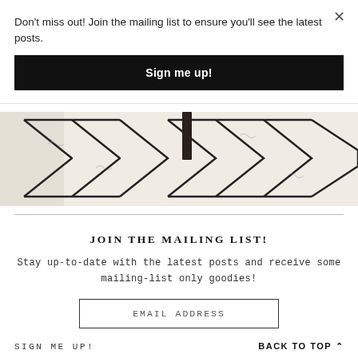Don't miss out! Join the mailing list to ensure you'll see the latest posts.
Sign me up!
[Figure (photo): Close-up photo of a white textured rug with black geometric diamond/triangle patterns and a dark furniture leg visible]
JOIN THE MAILING LIST!
Stay up-to-date with the latest posts and receive some mailing-list only goodies!
EMAIL ADDRESS
SIGN ME UP!
BACK TO TOP ^